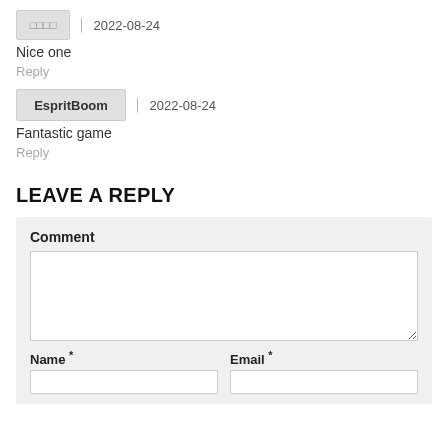□□□□  2022-08-24
Nice one
Reply
EspritBoom  2022-08-24
Fantastic game
Reply
LEAVE A REPLY
Comment
Name *
Email *